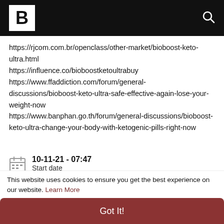B [logo] [search icon]
https://rjcom.com.br/openclass/other-market/bioboost-keto-ultra.html
https://influence.co/bioboostketoultrabuy
https://www.ffaddiction.com/forum/general-discussions/bioboost-keto-ultra-safe-effective-again-lose-your-weight-now
https://www.banphan.go.th/forum/general-discussions/bioboost-keto-ultra-change-your-body-with-ketogenic-pills-right-now
10-11-21 - 07:47
Start date
10-31-21 - 10:20
This website uses cookies to ensure you get the best experience on our website. Learn More
Got It!